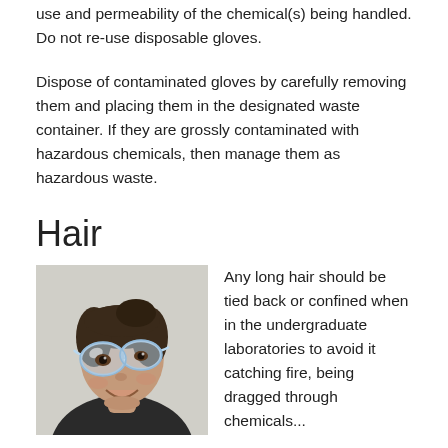use and permeability of the chemical(s) being handled. Do not re-use disposable gloves.
Dispose of contaminated gloves by carefully removing them and placing them in the designated waste container. If they are grossly contaminated with hazardous chemicals, then manage them as hazardous waste.
Hair
[Figure (photo): Photo of a person wearing safety goggles/protective eyewear, smiling at the camera, in a laboratory setting.]
Any long hair should be tied back or confined when in the undergraduate laboratories to avoid it catching fire, being dragged through chemicals...